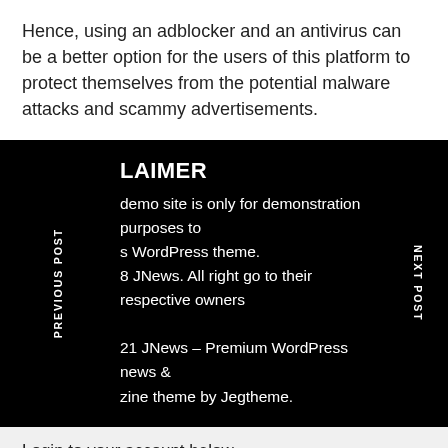Hence, using an adblocker and an antivirus can be a better option for the users of this platform to protect themselves from the potential malware attacks and scammy advertisements.
DISCLAIMER
demo site is only for demonstration purposes to s WordPress theme. 8 JNews. All right go to their respective owners 21 JNews – Premium WordPress news & zine theme by Jegtheme.
Login to your account below